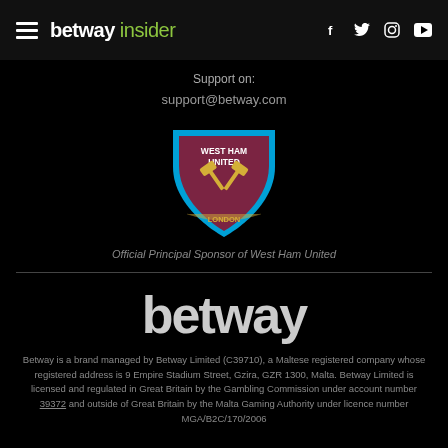betway insider — social icons: f, twitter, instagram, youtube
Support on:
support@betway.com
[Figure (logo): West Ham United football club badge/crest with blue border, maroon background, crossed hammers and text WEST HAM UNITED LONDON]
Official Principal Sponsor of West Ham United
[Figure (logo): betway logo in large grey/white bold text on black background]
Betway is a brand managed by Betway Limited (C39710), a Maltese registered company whose registered address is 9 Empire Stadium Street, Gzira, GZR 1300, Malta. Betway Limited is licensed and regulated in Great Britain by the Gambling Commission under account number 39372 and outside of Great Britain by the Malta Gaming Authority under licence number MGA/B2C/170/2006